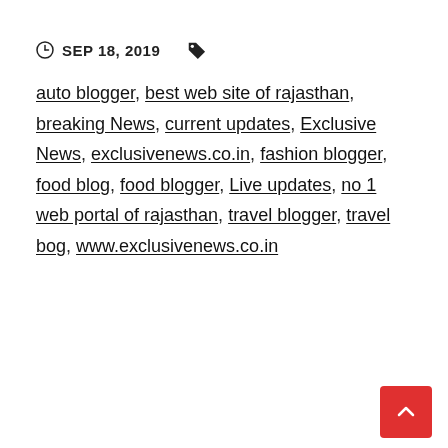SEP 18, 2019  auto blogger, best web site of rajasthan, breaking News, current updates, Exclusive News, exclusivenews.co.in, fashion blogger, food blog, food blogger, Live updates, no 1 web portal of rajasthan, travel blogger, travel bog, www.exclusivenews.co.in